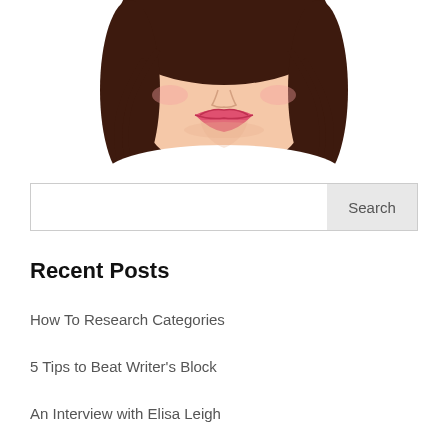[Figure (illustration): Cartoon/vector illustration of a woman's face and upper body, with brown hair, pink lips, and light skin tone. The image is cropped showing from mid-forehead to upper chest area.]
Search
Recent Posts
How To Research Categories
5 Tips to Beat Writer's Block
An Interview with Elisa Leigh
Inkers Con and 5 IG Hacks
An Interview with Frankie Love